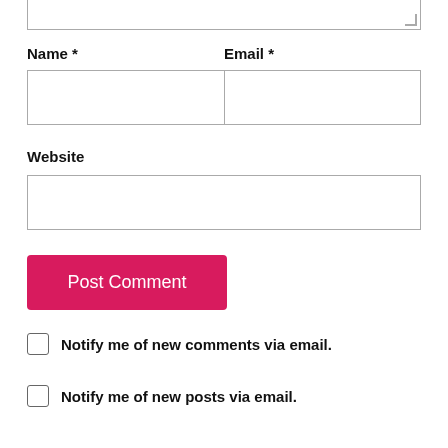[Figure (screenshot): Top portion of a textarea input field (cropped at top, showing only bottom border with resize handle)]
Name *
Email *
[Figure (screenshot): Two-column input field row for Name and Email]
Website
[Figure (screenshot): Single-column input field for Website URL]
[Figure (screenshot): Post Comment button (crimson/red background, white text)]
Notify me of new comments via email.
Notify me of new posts via email.